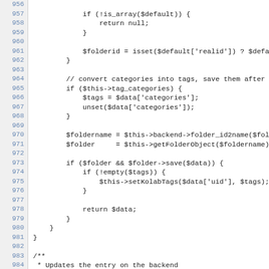Source code listing lines 956-993 showing PHP methods for folder operations including updateObject function